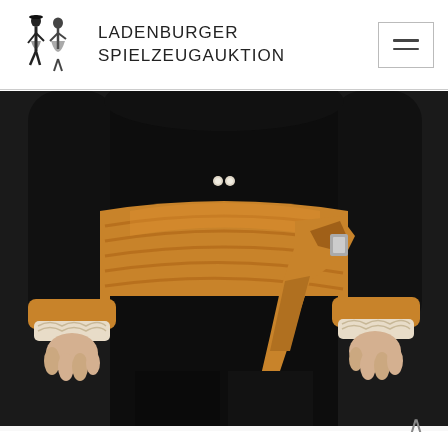LADENBURGER SPIELZEUGAUKTION
[Figure (photo): Close-up photograph of a doll or figurine torso dressed in a black costume with an orange/amber wide leather belt, orange cuffs with white lace trim, and an orange sash or pouch accessory hanging at the side. The hands are porcelain/bisque colored.]
[Figure (logo): Ladenburger Spielzeugauktion logo showing two antique doll figures]